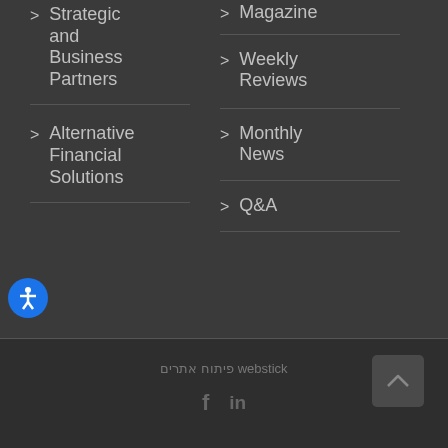> Strategic and Business Partners
> Alternative Financial Solutions
> Magazine
> Weekly Reviews
> Monthly News
> Q&A
webstick פיתוח אתרים